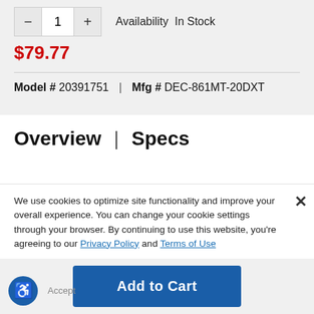Availability In Stock
$79.77
Model # 20391751 | Mfg # DEC-861MT-20DXT
Overview | Specs
We use cookies to optimize site functionality and improve your overall experience. You can change your cookie settings through your browser. By continuing to use this website, you're agreeing to our Privacy Policy and Terms of Use
Add to Cart